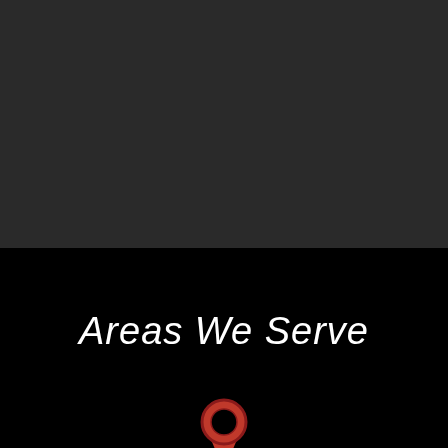[Figure (illustration): Dark gray background occupying the top half of the page]
Areas We Serve
[Figure (illustration): Red location pin icon (map marker) centered at the bottom of the page on a black background]